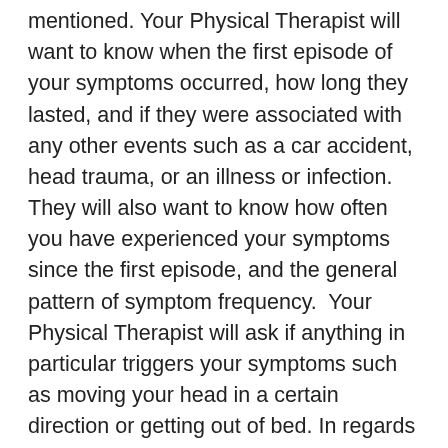mentioned. Your Physical Therapist will want to know when the first episode of your symptoms occurred, how long they lasted, and if they were associated with any other events such as a car accident, head trauma, or an illness or infection. They will also want to know how often you have experienced your symptoms since the first episode, and the general pattern of symptom frequency. Your Physical Therapist will ask if anything in particular triggers your symptoms such as moving your head in a certain direction or getting out of bed. In regards to dizziness your therapist will inquire about the nature of what you feel, and whether or not you experience episodes of true vertigo, where you have a sensation of spinning or rotating. Your Physical Therapist will also want to know if there is anything that makes your symptoms better, what makes your symptoms the worst, and if you are taking any medications, or if you have a family history of any inner ear disorders